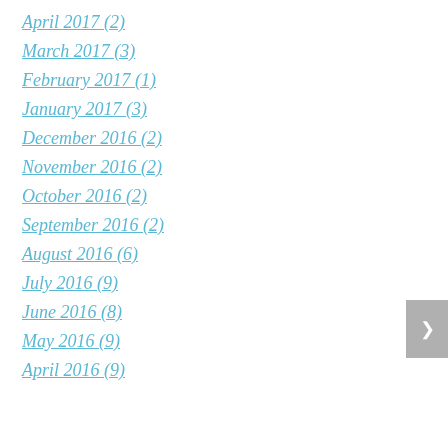April 2017 (2)
March 2017 (3)
February 2017 (1)
January 2017 (3)
December 2016 (2)
November 2016 (2)
October 2016 (2)
September 2016 (2)
August 2016 (6)
July 2016 (9)
June 2016 (8)
May 2016 (9)
April 2016 (9)